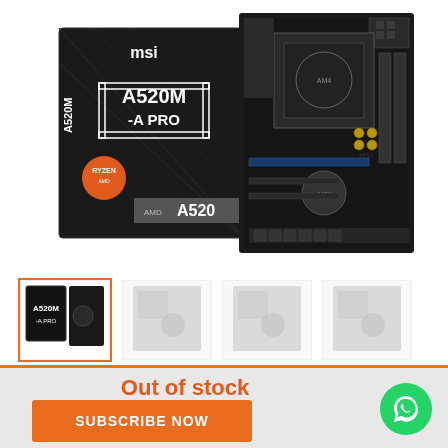[Figure (photo): MSI A520M-A PRO motherboard product photo showing the retail box on the left and the actual motherboard on the right. The box is black with MSI logo and AMD Ryzen logo. The board is a microATX form factor AMD A520 chipset board.]
[Figure (photo): Row of four thumbnail images of the MSI A520M-A PRO motherboard from various angles. First thumbnail is in color, remaining three are greyed out/faded.]
Out of stock
SUBSCRIBE NOW